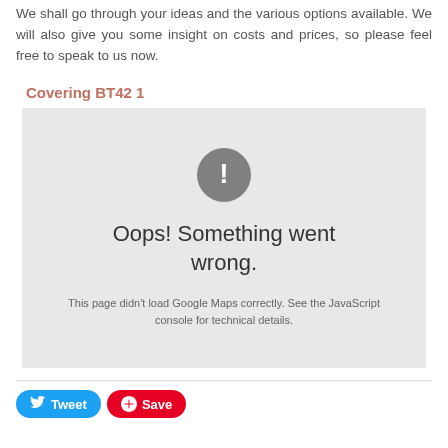We shall go through your ideas and the various options available. We will also give you some insight on costs and prices, so please feel free to speak to us now.
Covering BT42 1
[Figure (screenshot): Google Maps error box with grey background showing a circle exclamation icon, text 'Oops! Something went wrong.' and subtext 'This page didn't load Google Maps correctly. See the JavaScript console for technical details.']
Tweet   Save